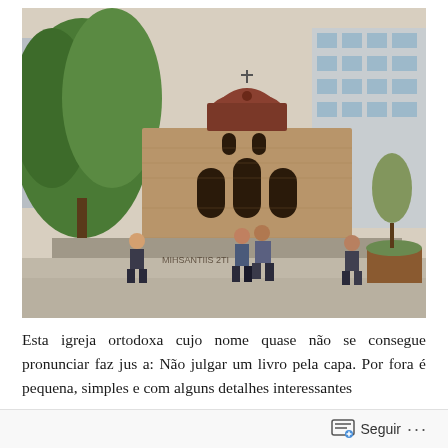[Figure (photo): An ancient Byzantine Orthodox church with a red domed roof, ornate brick facade with arched windows, surrounded by modern buildings and green trees. Several people are sitting on the low stone walls around the church in an urban plaza setting. Graffiti is visible on the walls.]
Esta igreja ortodoxa cujo nome quase não se consegue pronunciar faz jus a: Não julgar um livro pela capa. Por fora é pequena, simples e com alguns detalhes interessantes